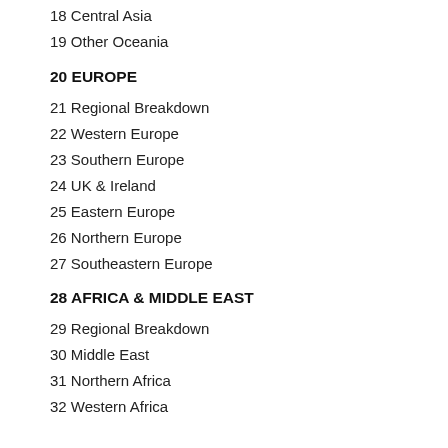18 Central Asia
19 Other Oceania
20 EUROPE
21 Regional Breakdown
22 Western Europe
23 Southern Europe
24 UK & Ireland
25 Eastern Europe
26 Northern Europe
27 Southeastern Europe
28 AFRICA & MIDDLE EAST
29 Regional Breakdown
30 Middle East
31 Northern Africa
32 Western Africa